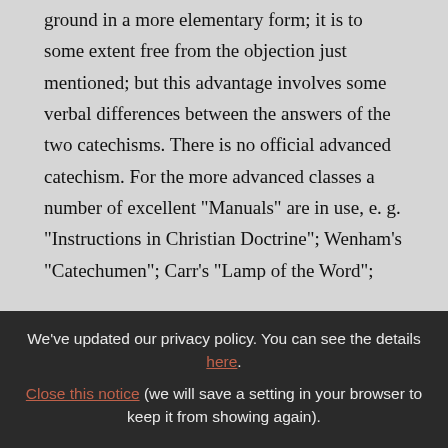ground in a more elementary form; it is to some extent free from the objection just mentioned; but this advantage involves some verbal differences between the answers of the two catechisms. There is no official advanced catechism. For the more advanced classes a number of excellent "Manuals" are in use, e. g. "Instructions in Christian Doctrine"; Wenham's "Catechumen"; Carr's "Lamp of the Word"; Cafferata's "The Catechism, Simply Explained"; Fander's (Deharbe's) "Catechism". Howe's
We've updated our privacy policy. You can see the details here. Close this notice (we will save a setting in your browser to keep it from showing again).